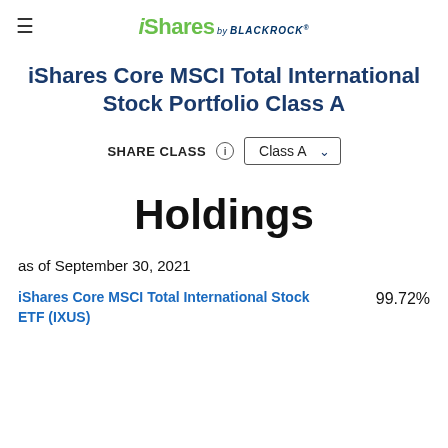iShares by BLACKROCK
iShares Core MSCI Total International Stock Portfolio Class A
SHARE CLASS  Class A
Holdings
as of September 30, 2021
iShares Core MSCI Total International Stock ETF (IXUS)  99.72%